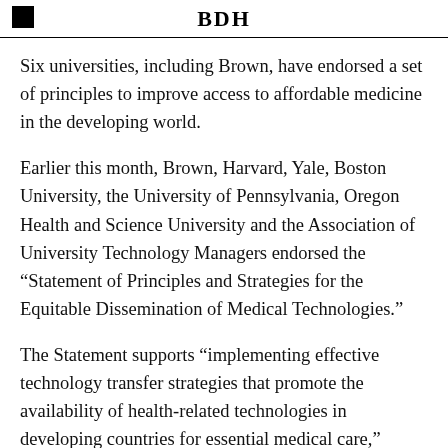BDH
Six universities, including Brown, have endorsed a set of principles to improve access to affordable medicine in the developing world.
Earlier this month, Brown, Harvard, Yale, Boston University, the University of Pennsylvania, Oregon Health and Science University and the Association of University Technology Managers endorsed the “Statement of Principles and Strategies for the Equitable Dissemination of Medical Technologies.”
The Statement supports “implementing effective technology transfer strategies that promote the availability of health-related technologies in developing countries for essential medical care,” according to a press release.